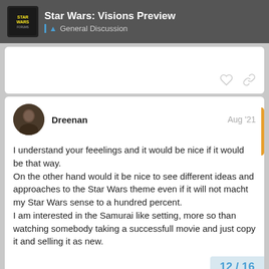Star Wars: Visions Preview — General Discussion
I understand your feeelings and it would be nice if it would be that way.
On the other hand would it be nice to see different ideas and approaches to the Star Wars theme even if it will not macht my Star Wars sense to a hundred percent.
I am interested in the Samurai like setting, more so than watching somebody taking a successfull movie and just copy it and selling it as new.
12 / 16